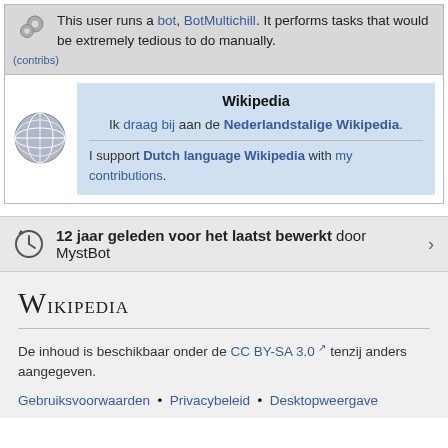This user runs a bot, BotMultichill. It performs tasks that would be extremely tedious to do manually.
(contribs)
Wikipedia
Ik draag bij aan de Nederlandstalige Wikipedia.
I support Dutch language Wikipedia with my contributions.
12 jaar geleden voor het laatst bewerkt door MystBot
Wikipedia
De inhoud is beschikbaar onder de CC BY-SA 3.0 tenzij anders aangegeven.
Gebruiksvoorwaarden • Privacybeleid • Desktopweergave